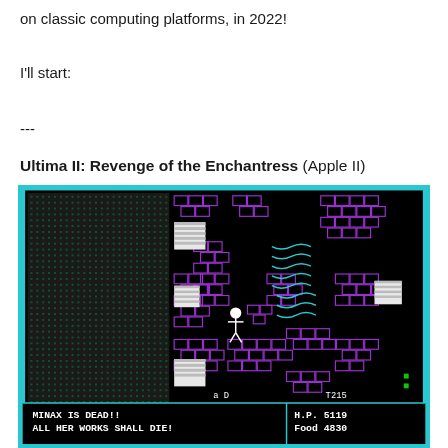on classic computing platforms, in 2022!
I'll start:
---
Ultima II: Revenge of the Enchantress (Apple II)
[Figure (screenshot): Screenshot of Ultima II: Revenge of the Enchantress running on Apple II. The game screen shows a top-down dungeon/world map view with a player character sprite in the center, purple brick wall structures, white square objects, and a dotted terrain pattern on the left. At the bottom of the screen, a status bar reads 'MINAX IS DEAD!! ALL HER WORKS SHALL DIE!' on the left and 'H.P. 5119 Food 4830' on the right. The screen has a cyan/teal border.]